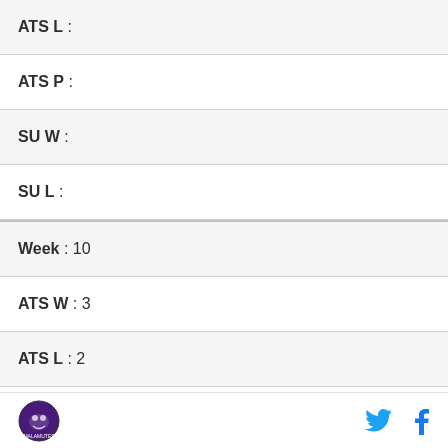ATS L :
ATS P :
SU W :
SU L :
Week : 10
ATS W : 3
ATS L : 2
ATS P :
SU W : 3
SU L : 2
Season to date :
Logo | Twitter | Facebook